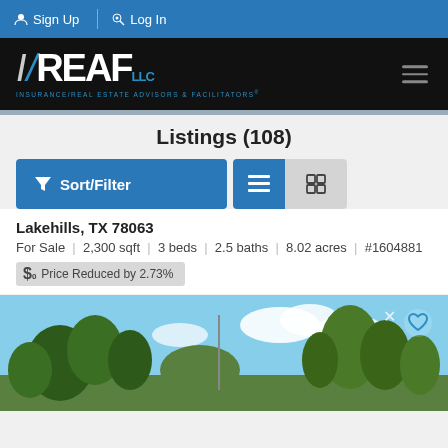Sign Up | Log In
[Figure (logo): I/REAF LLC logo — Insurance/Real Estate Advisors & Facilitators on black background with hamburger menu]
Listings (108)
Sort/Filter | list view | map view buttons
Lakehills, TX 78063
For Sale | 2,300 sqft | 3 beds | 2.5 baths | 8.02 acres | #1604881
Price Reduced by 2.73%
[Figure (photo): Outdoor property photo showing trees and sky with a heart/favorite button in top right corner]